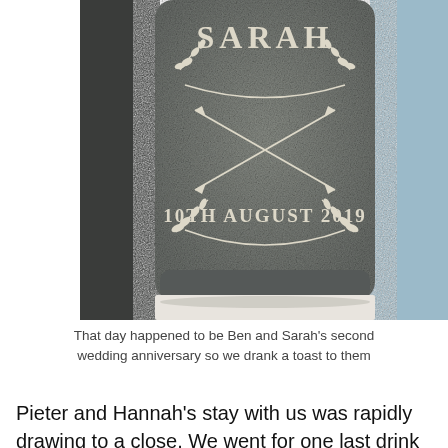[Figure (photo): A close-up photo of a grey foam/fabric drink koozie (can cooler) with a white decorative print showing the name 'SARAH' at the top with a laurel wreath design, crossed arrows in the middle, and '10TH AUGUST 2019' at the bottom with another laurel and banner design.]
That day happened to be Ben and Sarah's second wedding anniversary so we drank a toast to them
Pieter and Hannah's stay with us was rapidly drawing to a close. We went for one last drink at the